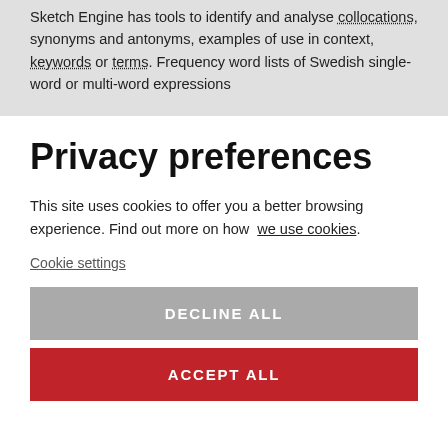Sketch Engine has tools to identify and analyse collocations, synonyms and antonyms, examples of use in context, keywords or terms. Frequency word lists of Swedish single-word or multi-word expressions
Privacy preferences
This site uses cookies to offer you a better browsing experience. Find out more on how we use cookies.
Cookie settings
DECLINE ALL
ACCEPT ALL